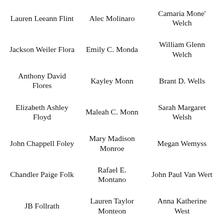Lauren Leeann Flint
Alec Molinaro
Camaria Mone' Welch
Jackson Weiler Flora
Emily C. Monda
William Glenn Welch
Anthony David Flores
Kayley Monn
Brant D. Wells
Elizabeth Ashley Floyd
Maleah C. Monn
Sarah Margaret Welsh
John Chappell Foley
Mary Madison Monroe
Megan Wemyss
Chandler Paige Folk
Rafael E. Montano
John Paul Van Wert
JB Follrath
Lauren Taylor Monteon
Anna Katherine West